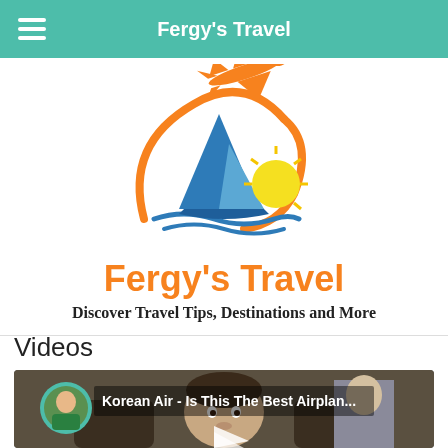Fergy's Travel
[Figure (logo): Fergy's Travel logo: sailboat with sun, orange swoosh, and orange airplane flying above]
Fergy's Travel
Discover Travel Tips, Destinations and More
Videos
[Figure (screenshot): Video thumbnail: Korean Air - Is This The Best Airplan... showing a man in airplane cabin with circular avatar of host in green shirt]